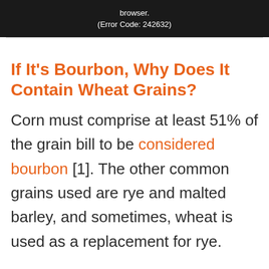[Figure (screenshot): Black video player error box showing text: 'browser. (Error Code: 242632)']
If It’s Bourbon, Why Does It Contain Wheat Grains?
Corn must comprise at least 51% of the grain bill to be considered bourbon [1]. The other common grains used are rye and malted barley, and sometimes, wheat is used as a replacement for rye.